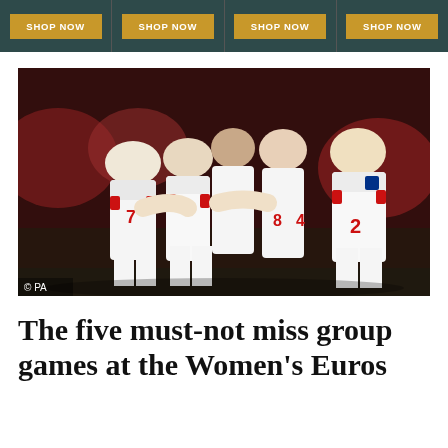SHOP NOW | SHOP NOW | SHOP NOW | SHOP NOW
[Figure (photo): England women's football players in white and red kits celebrating together on a pitch, hugging and smiling, with a crowd in the background. Photo credit: © PA]
The five must-not miss group games at the Women's Euros